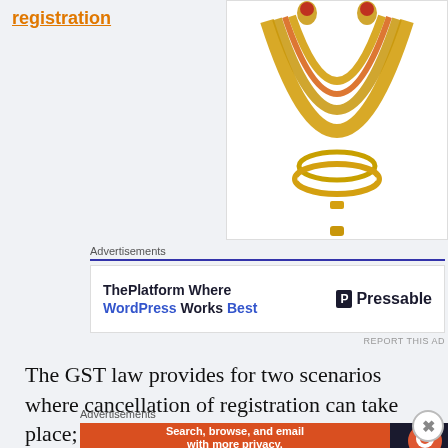registration
[Figure (photo): Gold jewelry set including necklaces, bangles, and earrings on white background]
Advertisements
[Figure (screenshot): Ad banner: ThePlatform Where WordPress Works Best | Pressable]
REPORT THIS AD
The GST law provides for two scenarios where cancellation of registration can take place; the one when the taxable
Advertisements
[Figure (screenshot): DuckDuckGo ad: Search, browse, and email with more privacy. All in One Free App]